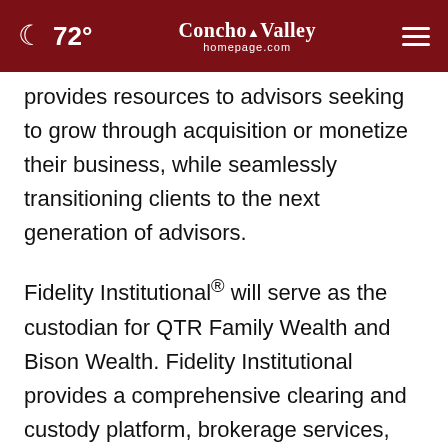72° Concho Valley homepage.com
provides resources to advisors seeking to grow through acquisition or monetize their business, while seamlessly transitioning clients to the next generation of advisors.
Fidelity Institutional® will serve as the custodian for QTR Family Wealth and Bison Wealth. Fidelity Institutional provides a comprehensive clearing and custody platform, brokerage services, trading capabilities, and practice management and consulting to registered investment advisors (RIAs), including strategic